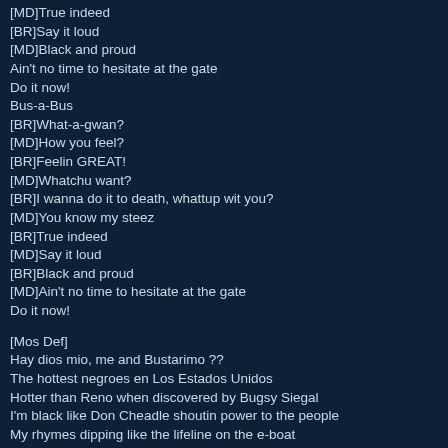[MD]True indeed
[BR]Say it loud
[MD]Black and proud
Ain't no time to hesitate at the gate
Do it now!
Bus-a-Bus
[BR]What-a-gwan?
[MD]How you feel?
[BR]Feelin GREAT!
[MD]Whatchu want?
[BR]I wanna do it to death, whattup wit you?
[MD]You know my steez
[BR]True indeed
[MD]Say it loud
[BR]Black and proud
[MD]Ain't no time to hesitate at the gate
Do it now!
[Mos Def]
Hay dios mio, me and Bustarimo ??
The hottest negroes en Los Estados Unidos
Hotter than Reno when discovered by Bugsy Siegal
I'm black like Don Cheadle shoutin power to the people
My rhymes dipping like the lifeline on the e-boat
The raw sugar cane, NutraSweet, never Equal
If you in a Benzito or your mother's Buick Regal
I get up like Chino shoutin power to the people!!
[Busta Rhymes]
Yo, me and the Mighty Mos shine like a light post
Live nigga shit be straight FUCKIN UP THE WHITE FOLKS